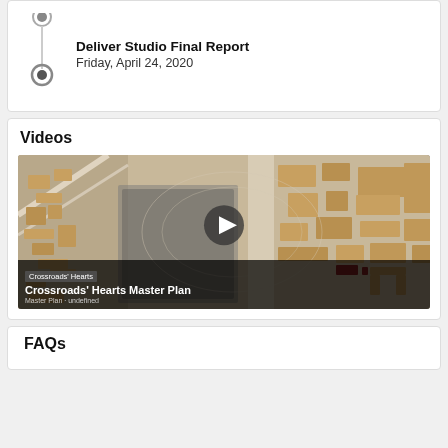Deliver Studio Final Report
Friday, April 24, 2020
Videos
[Figure (screenshot): Video thumbnail showing an architectural urban master plan model/rendering from above with a play button overlay. Title overlay reads 'Crossroads' Hearts Master Plan'.]
FAQs